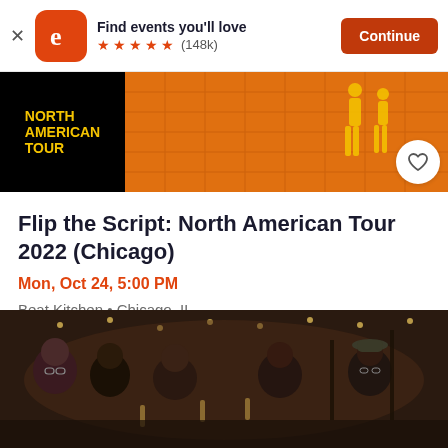Find events you'll love  ★★★★★ (148k)  Continue
[Figure (screenshot): Event banner image showing North American Tour text in yellow on black background, with orange background and grid pattern silhouettes]
Flip the Script: North American Tour 2022 (Chicago)
Mon, Oct 24, 5:00 PM
Beat Kitchen • Chicago, IL
Free
[Figure (photo): Group of people smiling and toasting at a bar/venue, indoor setting with string lights in background]